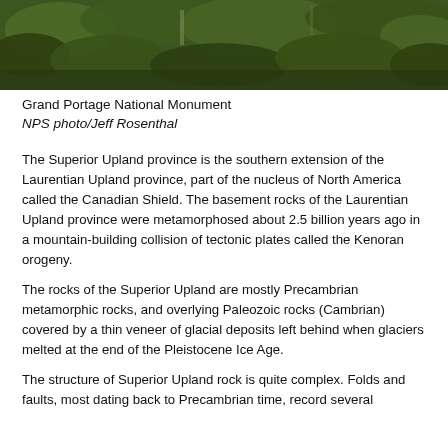[Figure (photo): Aerial or landscape photo of Grand Portage National Monument showing green forested hillside]
Grand Portage National Monument
NPS photo/Jeff Rosenthal
The Superior Upland province is the southern extension of the Laurentian Upland province, part of the nucleus of North America called the Canadian Shield. The basement rocks of the Laurentian Upland province were metamorphosed about 2.5 billion years ago in a mountain-building collision of tectonic plates called the Kenoran orogeny.
The rocks of the Superior Upland are mostly Precambrian metamorphic rocks, and overlying Paleozoic rocks (Cambrian) covered by a thin veneer of glacial deposits left behind when glaciers melted at the end of the Pleistocene Ice Age.
The structure of Superior Upland rock is quite complex. Folds and faults, most dating back to Precambrian time, record several